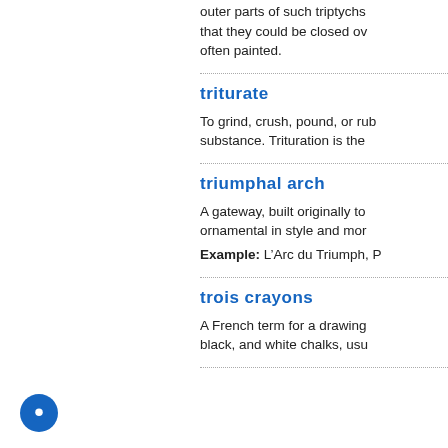outer parts of such triptychs that they could be closed over often painted.
triturate
To grind, crush, pound, or rub substance. Trituration is the
triumphal arch
A gateway, built originally to ornamental in style and more
Example: L’Arc du Triumph, P
trois crayons
A French term for a drawing black, and white chalks, usu